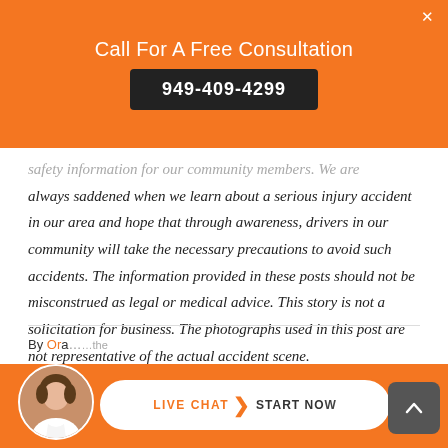Call For A Free Consultation
949-409-4299
safety information for our community members. We are always saddened when we learn about a serious injury accident in our area and hope that through awareness, drivers in our community will take the necessary precautions to avoid such accidents. The information provided in these posts should not be misconstrued as legal or medical advice. This story is not a solicitation for business. The photographs used in this post are not representative of the actual accident scene.
By Or... ...the